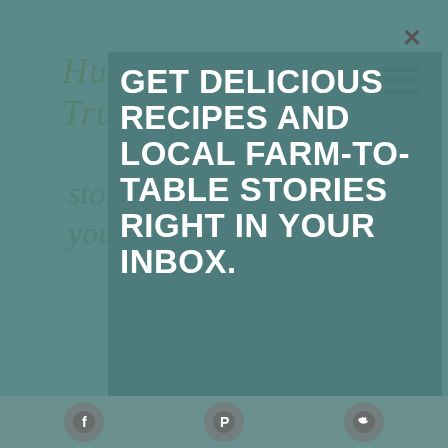[Figure (screenshot): Website newsletter signup modal overlay on a teal/green food blog called 'Hungry for Truth'. The modal shows a form with fields for First and Last Name, Email, and a Subscribe button. Background shows partial blog page with logo, hamburger menu, and social media icons (Facebook, Pinterest, Twitter) at the bottom.]
GET DELICIOUS RECIPES AND LOCAL FARM-TO-TABLE STORIES RIGHT IN YOUR INBOX.
First and Last Name
Email
SUBSCRIBE